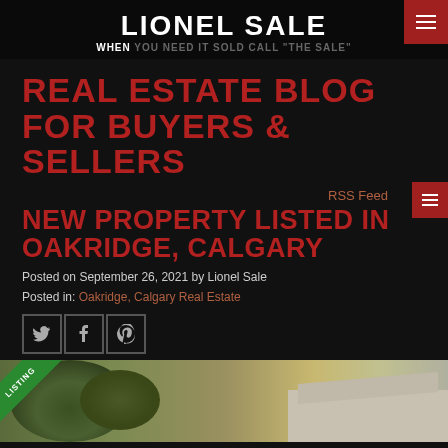LIONEL SALE — WHEN YOU NEED IT SOLD CALL "THE SALE"
REAL ESTATE BLOG FOR BUYERS & SELLERS
RSS Feed
NEW PROPERTY LISTED IN OAKRIDGE, CALGARY
Posted on September 26, 2021 by Lionel Sale
Posted in: Oakridge, Calgary Real Estate
[Figure (infographic): Social share icons: Twitter, Facebook, Pinterest]
[Figure (photo): Property listing photo showing a house exterior with trees and a NEW LISTING badge in the corner]